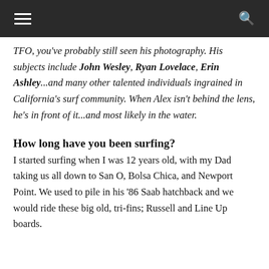≡  🔍
TFO, you've probably still seen his photography. His subjects include John Wesley, Ryan Lovelace, Erin Ashley...and many other talented individuals ingrained in California's surf community. When Alex isn't behind the lens, he's in front of it...and most likely in the water.
How long have you been surfing?
I started surfing when I was 12 years old, with my Dad taking us all down to San O, Bolsa Chica, and Newport Point. We used to pile in his '86 Saab hatchback and we would ride these big old, tri-fins; Russell and Line Up boards.